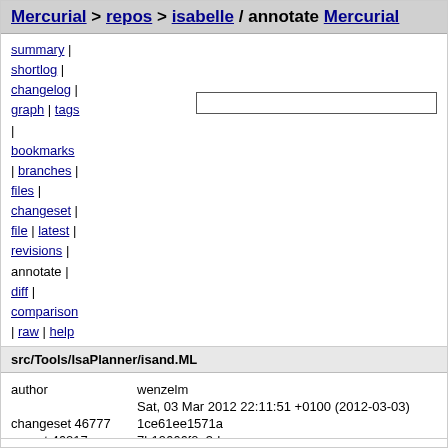Mercurial > repos > isabelle / annotate Mercurial
summary |
shortlog |
changelog |
graph | tags
|
bookmarks
| branches |
files |
changeset |
file | latest |
revisions |
annotate |
diff |
comparison
| raw | help
src/Tools/IsaPlanner/isand.ML
| field | value |
| --- | --- |
| author | wenzelm |
|  | Sat, 03 Mar 2012 22:11:51 +0100 (2012-03-03) |
| changeset 46777 | 1ce61ee1571a |
| parent 46217 | 7b19666f0e3d |
| child 49339 | d1fcb4de8349 |
| permissions | -rw-r--r-- |